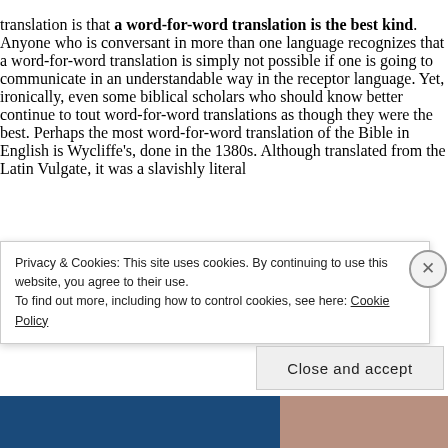translation is that a word-for-word translation is the best kind. Anyone who is conversant in more than one language recognizes that a word-for-word translation is simply not possible if one is going to communicate in an understandable way in the receptor language. Yet, ironically, even some biblical scholars who should know better continue to tout word-for-word translations as though they were the best. Perhaps the most word-for-word translation of the Bible in English is Wycliffe's, done in the 1380s. Although translated from the Latin Vulgate, it was a slavishly literal
Privacy & Cookies: This site uses cookies. By continuing to use this website, you agree to their use.
To find out more, including how to control cookies, see here: Cookie Policy
Close and accept